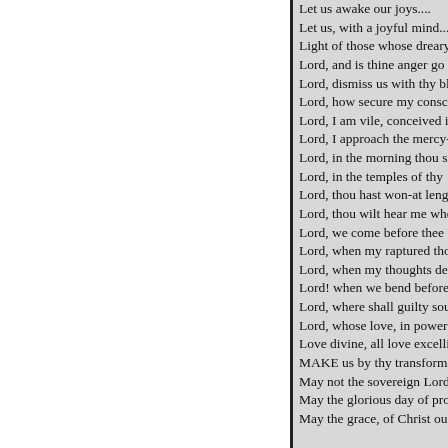Let us awake our joys....
Let us, with a joyful mind...
Light of those whose dreary...
Lord, and is thine anger go...
Lord, dismiss us with thy bl...
Lord, how secure my consc...
Lord, I am vile, conceived i...
Lord, I approach the mercy-...
Lord, in the morning thou s...
Lord, in the temples of thy ...
Lord, thou hast won-at leng...
Lord, thou wilt hear me whe...
Lord, we come before thee ...
Lord, when my raptured tho...
Lord, when my thoughts de...
Lord! when we bend before...
Lord, where shall guilty sou...
Lord, whose love, in power...
Love divine, all love excelli...
MAKE us by thy transform...
May not the sovereign Lord...
May the glorious day of pro...
May the grace, of Christ ou...